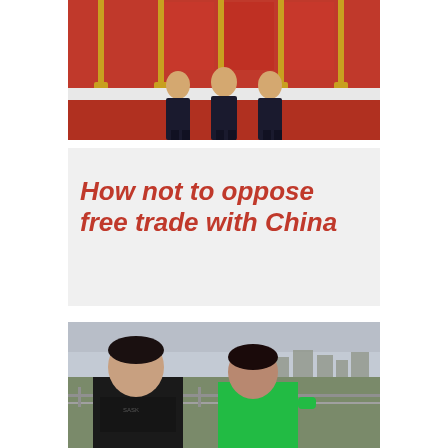[Figure (photo): Two figures in suits standing in front of red flags on a red carpet, an official diplomatic photo]
9/7/2017
How not to oppose free trade with China
[Figure (photo): Two men jogging on a bridge outdoors; one wearing a dark Saskatchewan t-shirt, the other a bright green shirt, with a city skyline in the background]